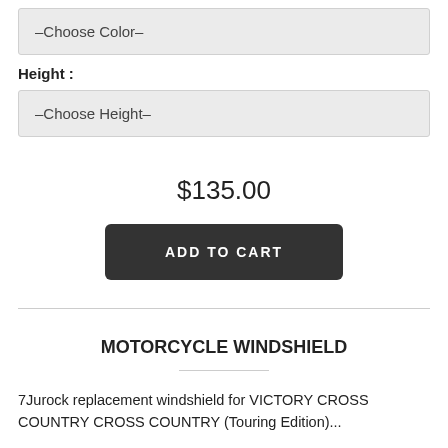--Choose Color--
Height :
--Choose Height--
$135.00
ADD TO CART
MOTORCYCLE WINDSHIELD
7Jurock replacement windshield for VICTORY CROSS COUNTRY CROSS COUNTRY (Touring Edition)...